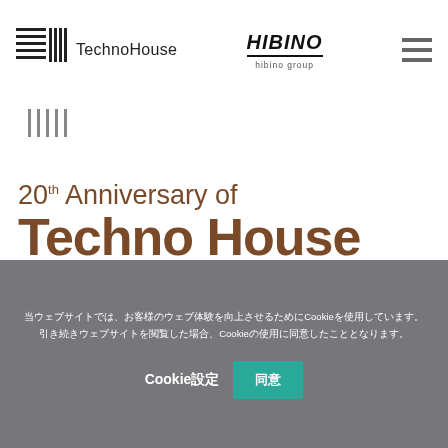[Figure (logo): Techno House logo with grid/barcode icon and text 'Techno House']
[Figure (logo): Hibino Group logo with italic bold text 'HIBINO' and underline, subtitle 'hibino group']
[Figure (illustration): Vertical bar barcode-like graphic]
20th Anniversary of Techno House
当ウェブサイトでは、お客様のウェブ体験を向上させるためにCookieを使用しています。引き続きウェブサイトを閲覧した場合、Cookieの使用に同意したこととなります。
Cookie設定　同意